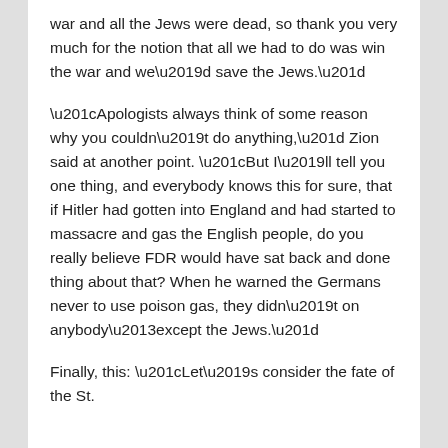war and all the Jews were dead, so thank you very much for the notion that all we had to do was win the war and we’d save the Jews.”
“Apologists always think of some reason why you couldn’t do anything,” Zion said at another point. “But I’ll tell you one thing, and everybody knows this for sure, that if Hitler had gotten into England and had started to massacre and gas the English people, do you really believe FDR would have sat back and done thing about that? When he warned the Germans never to use poison gas, they didn’t on anybody–except the Jews.”
Finally, this: “Let’s consider the fate of the St.